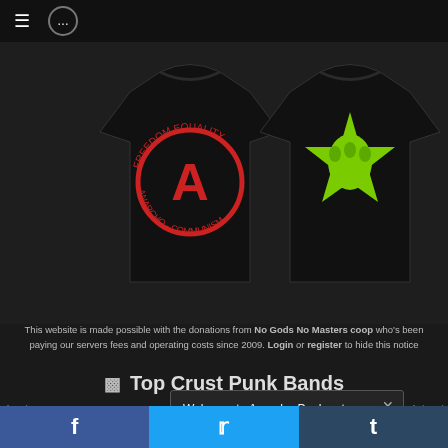[Figure (screenshot): Navigation bar with hamburger menu icon and chat bubble icon on dark background]
[Figure (photo): Two black t-shirts displayed on dark textured background. Left shirt has red anarchy circle symbol with text 'Freedom Equality Anarcho Communism'. Right shirt has green raised fist with paw print inside a star.]
This website is made possible with the donations from No Gods No Masters coop who's been paying our servers fees and operating costs since 2009. Login or register to hide this notice
Top Crust Punk Bands
Welcome to Anarcho-Punk.net community ! Please register or login to participate in the forums.
[Figure (screenshot): Bottom social sharing bar with Facebook, Twitter, and Tumblr buttons]